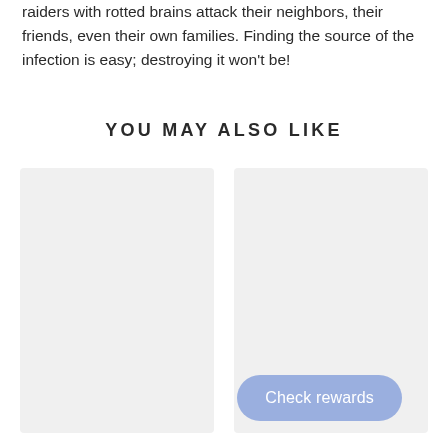raiders with rotted brains attack their neighbors, their friends, even their own families. Finding the source of the infection is easy; destroying it won't be!
YOU MAY ALSO LIKE
[Figure (other): Two placeholder book cover images side by side in light gray rectangles]
Check rewards